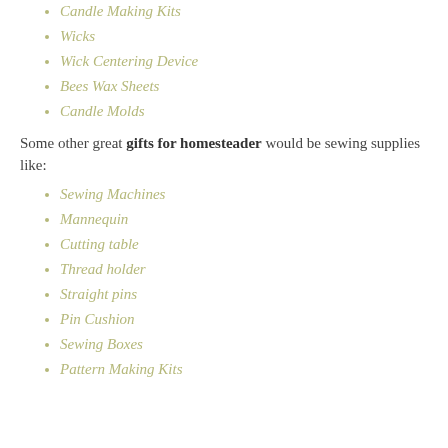Candle Making Kits
Wicks
Wick Centering Device
Bees Wax Sheets
Candle Molds
Some other great gifts for homesteader would be sewing supplies like:
Sewing Machines
Mannequin
Cutting table
Thread holder
Straight pins
Pin Cushion
Sewing Boxes
Pattern Making Kits